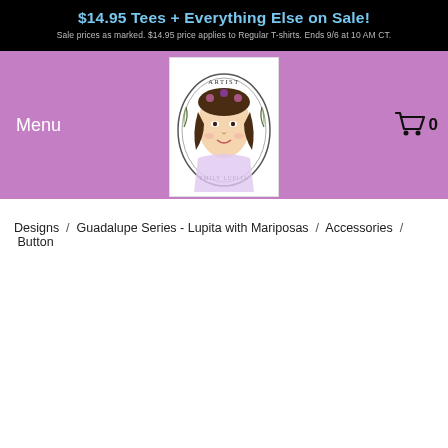$14.95 Tees + Everything Else on Sale! Sale prices as marked. $14.95 price applies to Regular T-shirts. Ends 9/6 at 10 AM CT.
[Figure (logo): Artist Emily Lupita circular logo with portrait illustration, white background]
Menu
0
Designs / Guadalupe Series - Lupita with Mariposas / Accessories / Button